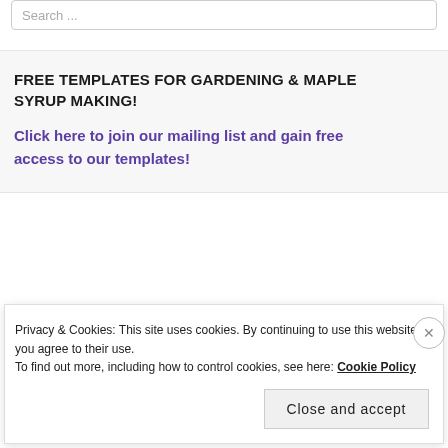Search ...
FREE TEMPLATES FOR GARDENING & MAPLE SYRUP MAKING!
Click here to join our mailing list and gain free access to our templates!
Privacy & Cookies: This site uses cookies. By continuing to use this website, you agree to their use.
To find out more, including how to control cookies, see here: Cookie Policy
Close and accept